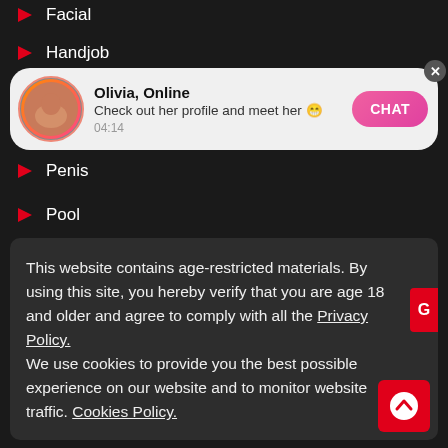Facial
[Figure (screenshot): Chat notification popup for 'Olivia, Online' with avatar, message 'Check out her profile and meet her 😊', timestamp 04:14, and a pink CHAT button. Close button (X) in top-right.]
Handjob
Penis
Pool
This website contains age-restricted materials. By using this site, you hereby verify that you are age 18 and older and agree to comply with all the Privacy Policy.
We use cookies to provide you the best possible experience on our website and to monitor website traffic. Cookies Policy.
Fetish